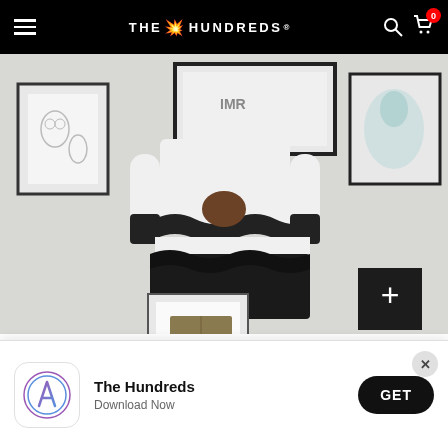THE HUNDREDS
[Figure (photo): A person wearing a black and white tie-dye stripe crewneck sweatshirt, posing in front of framed artwork on a wall. The sweatshirt has jagged dye patterns creating horizontal stripes of black and white.]
On "Finer Things," you talk about buying back
Something that will be accomplished, that I'll look at
The Hundreds
Download Now
GET